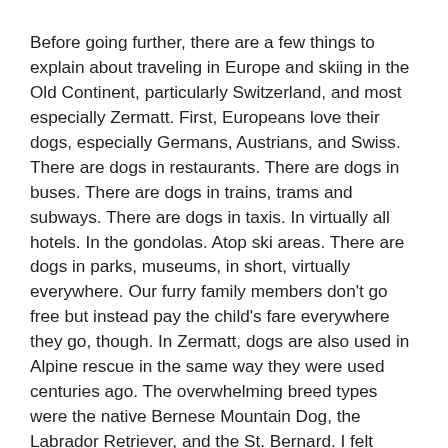Before going further, there are a few things to explain about traveling in Europe and skiing in the Old Continent, particularly Switzerland, and most especially Zermatt. First, Europeans love their dogs, especially Germans, Austrians, and Swiss. There are dogs in restaurants. There are dogs in buses. There are dogs in trains, trams and subways. There are dogs in taxis. In virtually all hotels. In the gondolas. Atop ski areas. There are dogs in parks, museums, in short, virtually everywhere. Our furry family members don't go free but instead pay the child's fare everywhere they go, though. In Zermatt, dogs are also used in Alpine rescue in the same way they were used centuries ago. The overwhelming breed types were the native Bernese Mountain Dog, the Labrador Retriever, and the St. Bernard. I felt nostalgic for my Lab staying in a pup hotel.